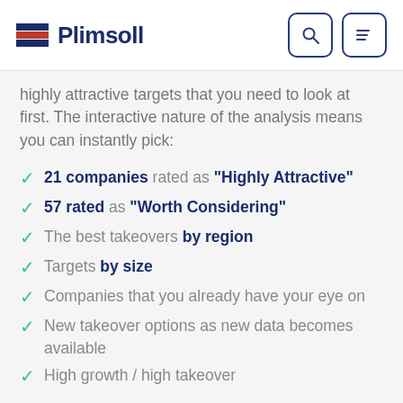Plimsoll
highly attractive targets that you need to look at first. The interactive nature of the analysis means you can instantly pick:
21 companies rated as "Highly Attractive"
57 rated as "Worth Considering"
The best takeovers by region
Targets by size
Companies that you already have your eye on
New takeover options as new data becomes available
High growth / high takeover
Each company in the Plimsoll Analysis is rated on